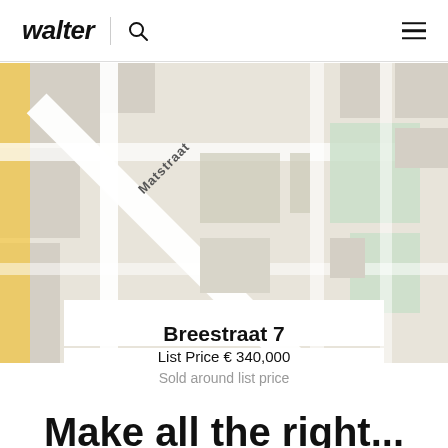walter
[Figure (map): Street map showing Matstraat area with intersecting roads, green spaces, and urban blocks. The map appears to be a standard OpenStreetMap-style rendering showing the neighborhood of Breestraat 7.]
Breestraat 7
List Price € 340,000
Sold around list price
Make all the right...